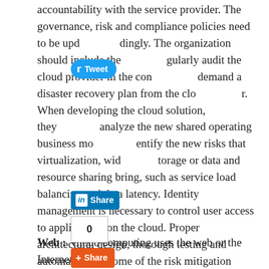accountability with the service provider. The governance, risk and compliance policies need to be updated accordingly. The organization should include the right to regularly audit the cloud provider in the contract and demand a disaster recovery plan from the cloud provider. When developing the cloud solution, they should analyze the new shared operating business models and identify the new risks that virtualization, wide area storage or data and resource sharing bring, such as service load balancing and data latency. Identity management is necessary to control user access to applications on the cloud. Proper architectural design, thorough testing and automation are some of the risk mitigation strategies.
[Figure (other): Social sharing widgets: Twitter Tweet button, LinkedIn Share button, a share count box showing 0, and an AddThis Share button overlaid on the text.]
Web: Cloud computing uses the web or the Internet as